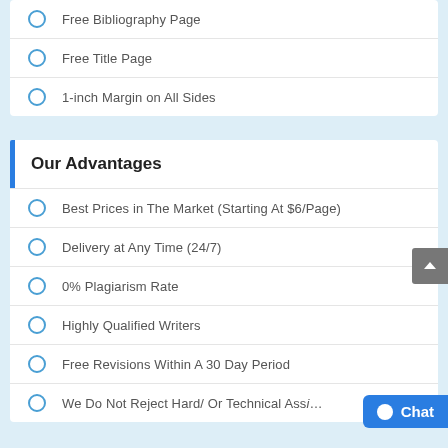Free Bibliography Page
Free Title Page
1-inch Margin on All Sides
Our Advantages
Best Prices in The Market (Starting At $6/Page)
Delivery at Any Time (24/7)
0% Plagiarism Rate
Highly Qualified Writers
Free Revisions Within A 30 Day Period
We Do Not Reject Hard/ Or Technical Assi…